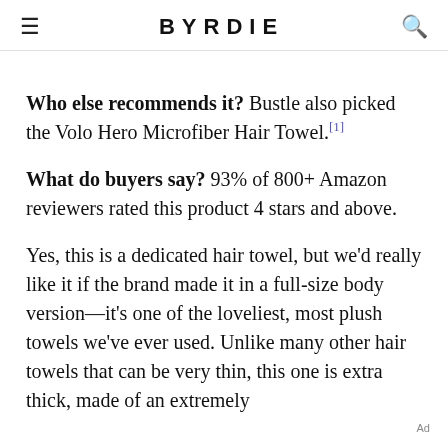BYRDIE
Who else recommends it? Bustle also picked the Volo Hero Microfiber Hair Towel.[1]
What do buyers say? 93% of 800+ Amazon reviewers rated this product 4 stars and above.
Yes, this is a dedicated hair towel, but we'd really like it if the brand made it in a full-size body version—it's one of the loveliest, most plush towels we've ever used. Unlike many other hair towels that can be very thin, this one is extra thick, made of an extremely